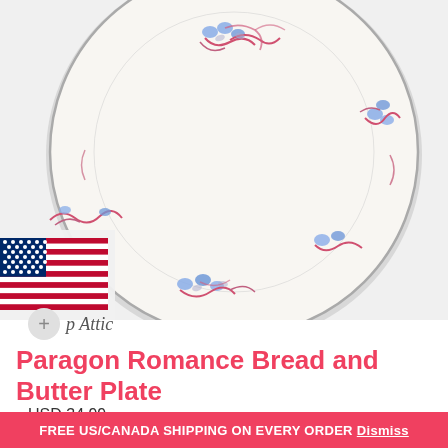[Figure (photo): Paragon Romance bone china bread and butter plate with blue floral and pink scroll pattern around the rim, silver edge, white background, top-down view.]
[Figure (illustration): US flag (American flag) overlay on lower left of product photo area.]
+ p Attic
Paragon Romance Bread and Butter Plate
USD 34.99
FREE US/CANADA SHIPPING ON EVERY ORDER Dismiss